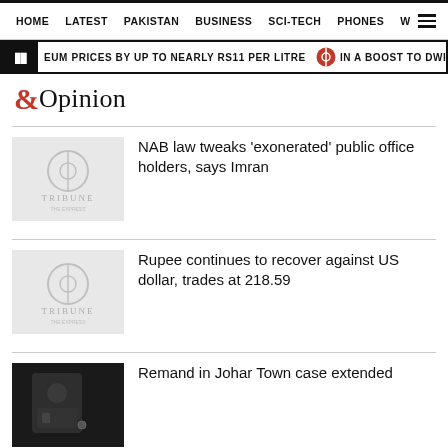HOME | LATEST | PAKISTAN | BUSINESS | SCI-TECH | PHONES | W ☰
EUM PRICES BY UP TO NEARLY RS11 PER LITRE | IN A BOOST TO DWINDLING FOR
&Opinion
NAB law tweaks 'exonerated' public office holders, says Imran
Rupee continues to recover against US dollar, trades at 218.59
Remand in Johar Town case extended